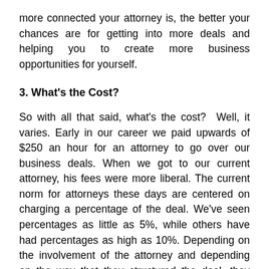more connected your attorney is, the better your chances are for getting into more deals and helping you to create more business opportunities for yourself.
3. What's the Cost?
So with all that said, what's the cost?  Well, it varies. Early in our career we paid upwards of $250 an hour for an attorney to go over our business deals. When we got to our current attorney, his fees were more liberal. The current norm for attorneys these days are centered on charging a percentage of the deal. We've seen percentages as little as 5%, while others have had percentages as high as 10%. Depending on the involvement of the attorney and depending on the way that they structured the deal, they may ask for a larger fee. There